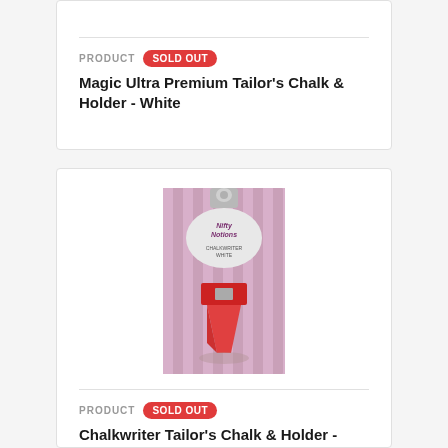PRODUCT  SOLD OUT
Magic Ultra Premium Tailor's Chalk & Holder - White
[Figure (photo): Product photo of Nifty Notions Chalkwriter White tailor's chalk and holder in pink striped packaging with red chalk piece visible]
PRODUCT  SOLD OUT
Chalkwriter Tailor's Chalk & Holder - White